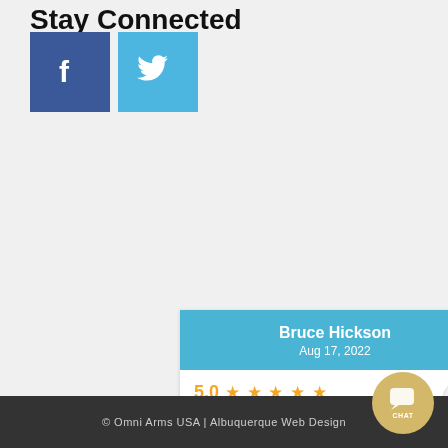Stay Connected
[Figure (logo): Facebook and Twitter social media icons side by side]
Bruce Hickson
Aug 17, 2022
5.0 ★★★★★
Hello Omni Arms Owner / Management, >> All fantastic . . . thanks to the great staff/team @ Omni Arms. Especially Mr. Jake & Ms... more
powered by BirdEye
© Omni Arms USA | Albuquerque Web Design